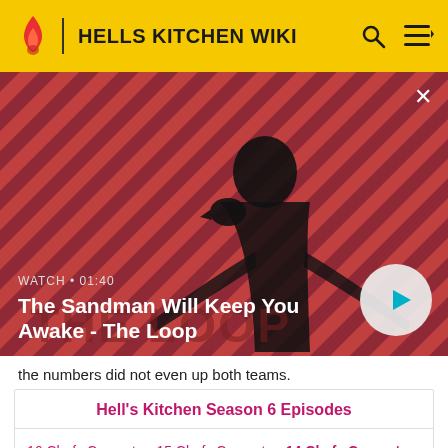HELLS KITCHEN WIKI
[Figure (screenshot): Video thumbnail for 'The Sandman Will Keep You Awake - The Loop' with a dark figure and a raven on a red striped background. Shows WATCH • 01:40 label and a play button.]
the numbers did not even up both teams.
| Hell's Kitchen Season 6 Episodes |
| --- |
| 16 Chefs Compete • 15 Chefs Compete • 14 Chefs Compete • 13 Chefs Compete • 12 Chefs Compete • 11 Chefs Compete • 10 Chefs Compete • 9 Chefs Compete • 8 Chefs Compete • 7 |